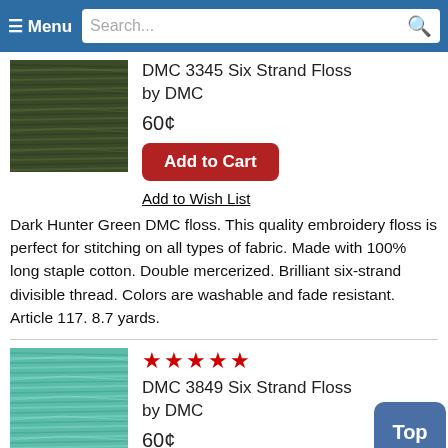≡ Menu  Search...
[Figure (photo): Dark green embroidery floss thread texture, DMC 3345]
DMC 3345 Six Strand Floss by DMC
60¢
Add to Cart
Add to Wish List
Dark Hunter Green DMC floss. This quality embroidery floss is perfect for stitching on all types of fabric. Made with 100% long staple cotton. Double mercerized. Brilliant six-strand divisible thread. Colors are washable and fade resistant. Article 117. 8.7 yards.
[Figure (photo): Teal/light green embroidery floss thread texture, DMC 3849]
★★★★★
DMC 3849 Six Strand Floss by DMC
60¢